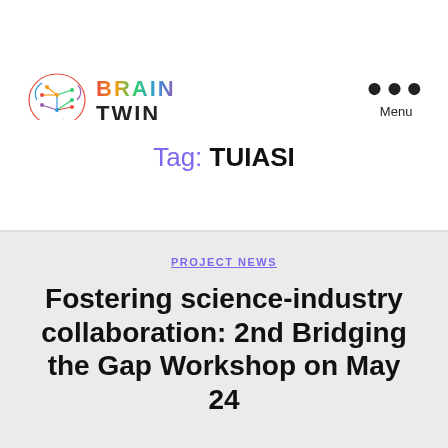[Figure (logo): Brain Twin logo with colorful brain circuit illustration and 'BRAIN TWIN' text in gradient colors]
Menu
Tag: TUIASI
PROJECT NEWS
Fostering science-industry collaboration: 2nd Bridging the Gap Workshop on May 24